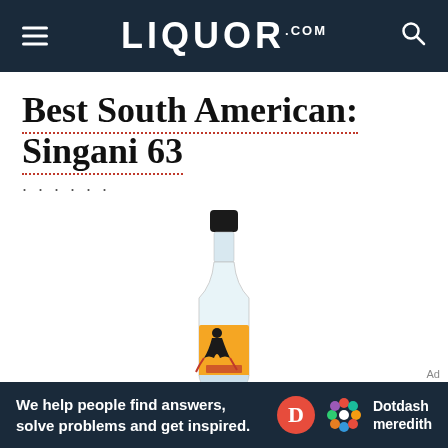LIQUOR.COM
Best South American: Singani 63
[Figure (photo): A bottle of Singani 63 liquor with a yellow label featuring a dark illustrated figure, clear glass body, and black cap, photographed on a white background.]
Ad
We help people find answers, solve problems and get inspired. Dotdash meredith